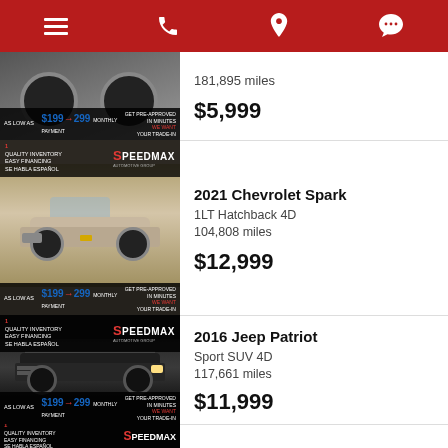Navigation bar with menu, phone, location, and chat icons
[Figure (photo): Partial view of a dark vehicle with chrome wheels. Overlay banners: SPEEDMAX dealership, AS LOW AS $199-$299 MONTHLY PAYMENT, GET PRE-APPROVED IN MINUTES, WE WANT YOUR TRADE-IN. 181,895 miles. Price: $5,999]
181,895 miles
$5,999
[Figure (photo): 2021 Chevrolet Spark silver/beige hatchback. Overlay banners: QUALITY INVENTORY, EASY FINANCING, SE HABLA ESPANOL, SPEEDMAX. AS LOW AS $199-$299 MONTHLY PAYMENT, GET PRE-APPROVED IN MINUTES, WE WANT YOUR TRADE-IN.]
2021 Chevrolet Spark
1LT Hatchback 4D
104,808 miles
$12,999
[Figure (photo): 2016 Jeep Patriot black SUV. Overlay banners: QUALITY INVENTORY, EASY FINANCING, SE HABLA ESPANOL, SPEEDMAX. AS LOW AS $199-$299 MONTHLY PAYMENT, GET PRE-APPROVED IN MINUTES, WE WANT YOUR TRADE-IN.]
2016 Jeep Patriot
Sport SUV 4D
117,661 miles
$11,999
[Figure (photo): Partial view of next listing with SPEEDMAX banner, QUALITY INVENTORY, EASY FINANCING, SE HABLA ESPANOL]